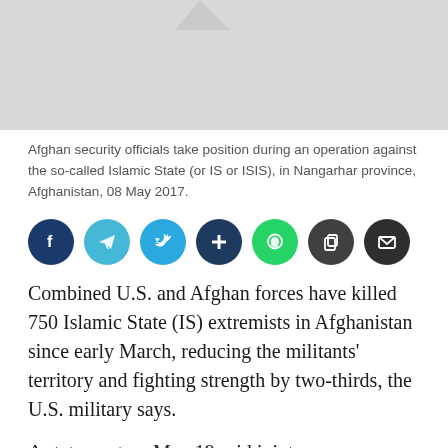[Figure (photo): Afghan security officials during an operation, partial image shown at top of page, gray placeholder area]
Afghan security officials take position during an operation against the so-called Islamic State (or IS or ISIS), in Nangarhar province, Afghanistan, 08 May 2017.
[Figure (infographic): Row of social media share buttons: Facebook (dark blue), Telegram (light blue), Twitter (blue), AddThis (dark blue), WhatsApp (green), Copy (dark gray), Email (dark gray)]
Combined U.S. and Afghan forces have killed 750 Islamic State (IS) extremists in Afghanistan since early March, reducing the militants' territory and fighting strength by two-thirds, the U.S. military says.
A statement on May 19 said joint "counterterrorism" forces of Afghan soldiers and U.S. Special Forces have destroyed military equipment and